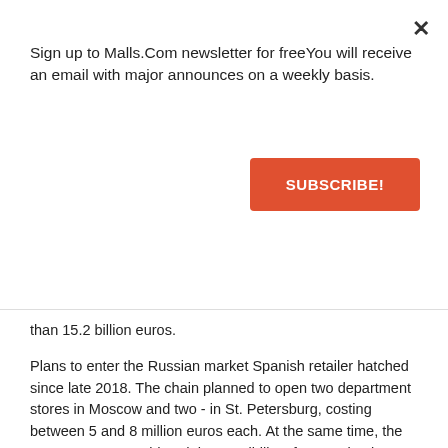Sign up to Malls.Com newsletter for freeYou will receive an email with major announces on a weekly basis.
SUBSCRIBE!
than 15.2 billion euros.
Plans to enter the Russian market Spanish retailer hatched since late 2018. The chain planned to open two department stores in Moscow and two - in St. Petersburg, costing between 5 and 8 million euros each. At the same time, the management considered the possibility of expansion into Romania and Bulgaria.
Experts note that in the Russian market, the format of classic department stores is not very popular. In particular, the British network Debenhams could not consolidate in Russia. One of the few international players in this segment is Stockmann, working in Russia in the negatives in recent years. In the world's largest markets, department store chains have been doing badly recently. In particular, the U.S. networks J.Crew and